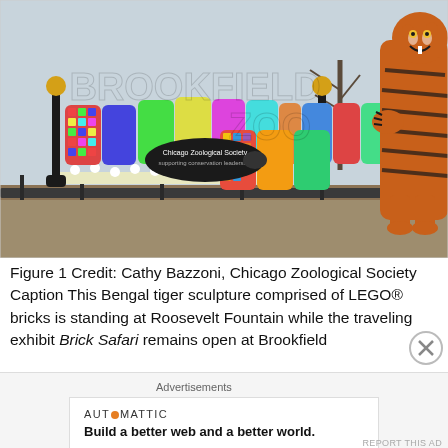[Figure (photo): Photo of the Brookfield Zoo entrance sign — large colorful LEGO-brick style letters spelling 'BROOKFIELD ZOO' with a LEGO Bengal tiger sculpture standing beside it at Roosevelt Fountain. Black fence, flowers, and bare trees in background.]
Figure 1 Credit: Cathy Bazzoni, Chicago Zoological Society Caption This Bengal tiger sculpture comprised of LEGO® bricks is standing at Roosevelt Fountain while the traveling exhibit Brick Safari remains open at Brookfield
Advertisements
AUTOMATTIC
Build a better web and a better world.